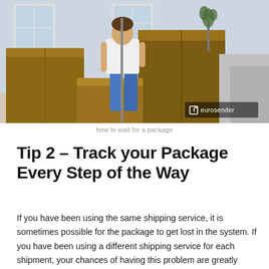[Figure (photo): A person standing among cardboard moving boxes in a bright room with windows, mop or broom in hand, with a sofa visible at right. Eurosender logo badge in lower right corner of the photo.]
how to wait for a package
Tip 2 – Track your Package Every Step of the Way
If you have been using the same shipping service, it is sometimes possible for the package to get lost in the system. If you have been using a different shipping service for each shipment, your chances of having this problem are greatly decreased. It is still possible that the first shipment might be lost, but if you have been using a different shipping service for each package, this problem is greatly reduced.